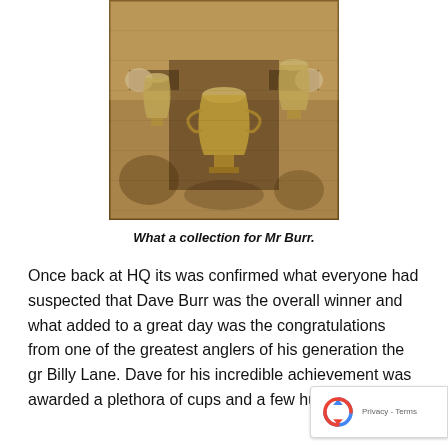[Figure (photo): A sepia-toned aged newspaper photograph showing a person (Mr Burr) holding multiple trophy cups. The image has a brownish, aged appearance typical of old newspaper print.]
What a collection for Mr Burr.
Once back at HQ its was confirmed what everyone had suspected that Dave Burr was the overall winner and what added to a great day was the congratulations from one of the greatest anglers of his generation the gr Billy Lane. Dave for his incredible achievement was awarded a plethora of cups and a few hundred quid to